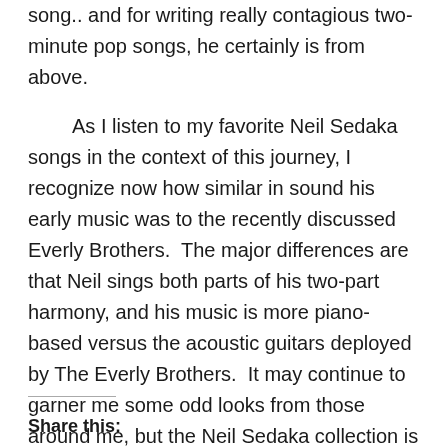song.. and for writing really contagious two-minute pop songs, he certainly is from above.

As I listen to my favorite Neil Sedaka songs in the context of this journey, I recognize now how similar in sound his early music was to the recently discussed Everly Brothers. The major differences are that Neil sings both parts of his two-part harmony, and his music is more piano-based versus the acoustic guitars deployed by The Everly Brothers. It may continue to garner me some odd looks from those around me, but the Neil Sedaka collection is here to stay on my playlist. Somewhere I hear Laughter In The Rain... and hopefully you will as well.
Share this: